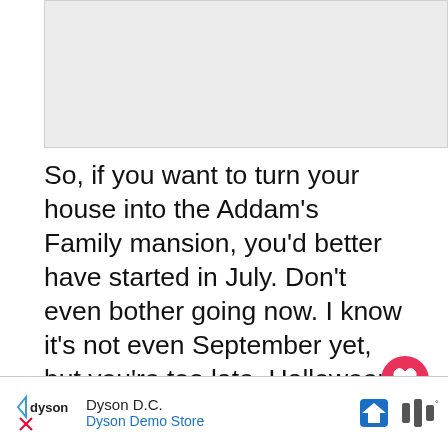[Figure (photo): Gray placeholder image area at top of page]
So, if you want to turn your house into the Addam’s Family mansion, you’d better have started in July. Don’t even bother going now. I know it’s not even September yet, but you’re too late. Halloween started in June this year. Now it’s time for Christmas. No, not this year’s Christmas. NEXT year’s Christmas. That’s right. We’re now sixteen mo... on our holidays. Welcome to your new reality.
[Figure (screenshot): What's Next promo box: You Can Show Burger King ...]
[Figure (screenshot): Dyson D.C. / Dyson Demo Store advertisement bar at bottom]